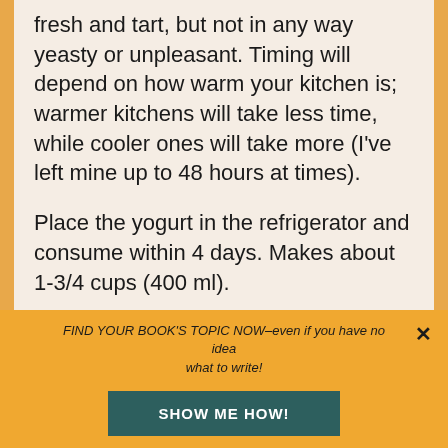fresh and tart, but not in any way yeasty or unpleasant. Timing will depend on how warm your kitchen is; warmer kitchens will take less time, while cooler ones will take more (I've left mine up to 48 hours at times).
Place the yogurt in the refrigerator and consume within 4 days. Makes about 1-3/4 cups (400 ml).
Recipe ©Ricki Heller, rickiheller.com. For personal use only. Please do not share,
FIND YOUR BOOK'S TOPIC NOW–even if you have no idea what to write!
SHOW ME HOW!